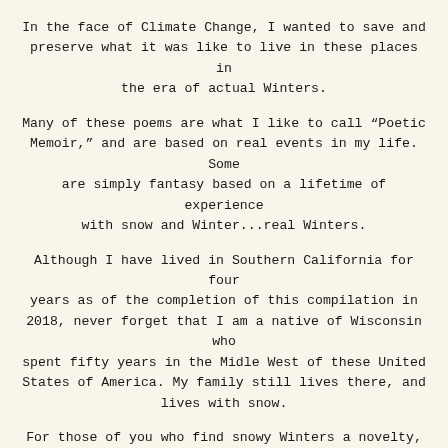In the face of Climate Change, I wanted to save and preserve what it was like to live in these places in the era of actual Winters.
Many of these poems are what I like to call “Poetic Memoir,” and are based on real events in my life. Some are simply fantasy based on a lifetime of experience with snow and Winter...real Winters.
Although I have lived in Southern California for four years as of the completion of this compilation in 2018, never forget that I am a native of Wisconsin who spent fifty years in the Midle West of these United States of America. My family still lives there, and lives with snow.
For those of you who find snowy Winters a novelty, or know it not at all, I hope this book can give you a deeper understanding of what it was like.